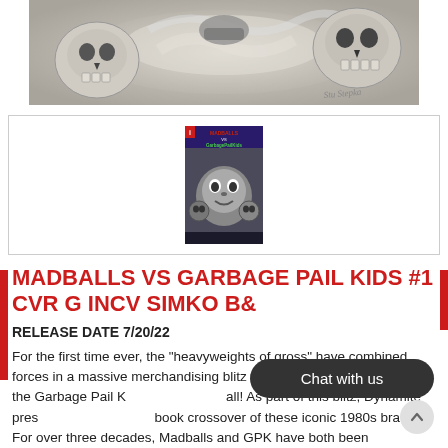[Figure (illustration): Black and white skull and smoke artwork banner across top of page, featuring multiple skull figures with smoky/misty effects. Artist signature visible.]
[Figure (illustration): Comic book cover thumbnail for 'Madballs vs Garbage Pail Kids #1 CVR G INCV SIMKO B&W' showing a Garbage Pail Kids character surrounded by Madballs in black and white.]
MADBALLS VS GARBAGE PAIL KIDS #1 CVR G INCV SIMKO B&
RELEASE DATE 7/20/22
For the first time ever, the "heavyweights of gross" have combined forces in a massive merchandising blitz that pits the Madballs against the Garbage Pail Kids once and for all! As part of this blitz, Dynamite presents the first comic book crossover of these iconic 1980s brands! For over three decades, Madballs and GPK have both been known as the "grossest of the gross," so ruling...